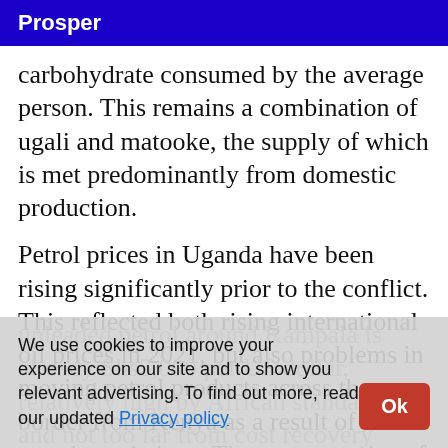Prosper
carbohydrate consumed by the average person. This remains a combination of ugali and matooke, the supply of which is met predominantly from domestic production.
Petrol prices in Uganda have been rising significantly prior to the conflict. This reflected both rising international oil prices in 2021, but also problems in moving petrol products across the border from Kenya as a result of Covid travel restrictions. The average price of
unleaded petrol around Kampala is already Shs5,000 per US dollar, relatively high by African standards, and not too far from cost recovery levels.
We use cookies to improve your experience on our site and to show you relevant advertising. To find out more, read our updated Privacy policy